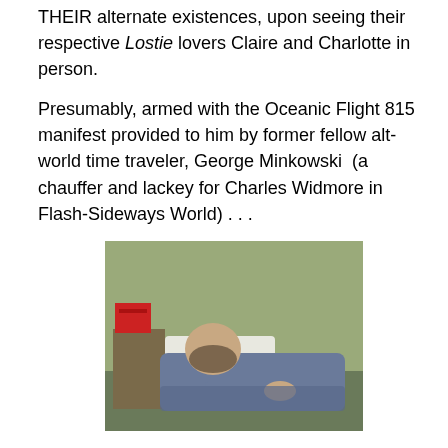THEIR alternate existences, upon seeing their respective Lostie lovers Claire and Charlotte in person.
Presumably, armed with the Oceanic Flight 815 manifest provided to him by former fellow alt-world time traveler, George Minkowski  (a chauffer and lackey for Charles Widmore in Flash-Sideways World) . . .
[Figure (photo): A man lying on a bed or reclining chair, with a nightstand and red object visible beside him. The scene appears to be from the TV show LOST, likely depicting George Minkowski.]
time traveling + NO superpowers = insanity, lots of nosebleeds, and a painful death . ..
Desmond will find all the Losties in Flash-Sideways World and attempt to trigger their memories of Real World, by